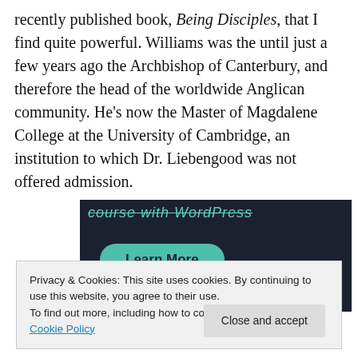recently published book, Being Disciples, that I find quite powerful. Williams was the until just a few years ago the Archbishop of Canterbury, and therefore the head of the worldwide Anglican community. He's now the Master of Magdalene College at the University of Cambridge, an institution to which Dr. Liebengood was not offered admission.
[Figure (screenshot): Dark banner advertisement with teal italic strikethrough text reading 'course with WordPress' and a teal rounded 'Learn More' button.]
Privacy & Cookies: This site uses cookies. By continuing to use this website, you agree to their use.
To find out more, including how to control cookies, see here: Cookie Policy